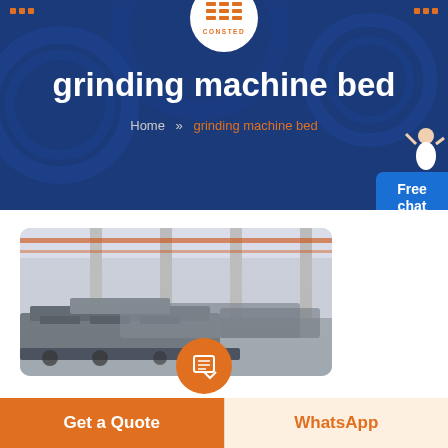CONSTED
grinding machine bed
Home >> grinding machine bed
[Figure (photo): Photo of grinding machine beds in a factory/warehouse setting, showing grey industrial equipment on a factory floor with visible structural columns and overhead cranes]
Get a Quote
WhatsApp